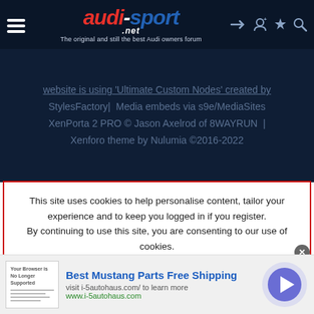audi-sport.net — The original and still the best Audi owners forum
website is using 'Ultimate Custom Nodes' created by StylesFactory| Media embeds via s9e/MediaSites XenPorta 2 PRO © Jason Axelrod of 8WAYRUN | Xenforo theme by Nulumia ©2016-2022
This site uses cookies to help personalise content, tailor your experience and to keep you logged in if you register.
By continuing to use this site, you are consenting to our use of cookies.
[Figure (screenshot): Cookie consent dialog with ACCEPT and LEARN MORE buttons in red]
[Figure (infographic): Advertisement banner: Best Mustang Parts Free Shipping, visit i-5autohaus.com/ to learn more, www.i-5autohaus.com]